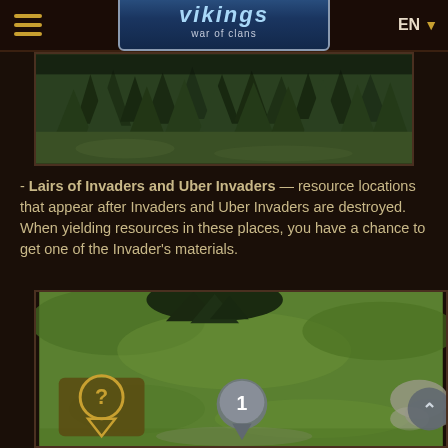Vikings: War of Clans — EN
[Figure (screenshot): Game screenshot showing a forest landscape with dark trees]
- Lairs of Invaders and Uber Invaders — resource locations that appear after Invaders and Uber Invaders are destroyed. When yielding resources in these places, you have a chance to get one of the Invader's materials.
[Figure (screenshot): Game map screenshot showing a green field with a numbered marker '1' and a question mark icon]